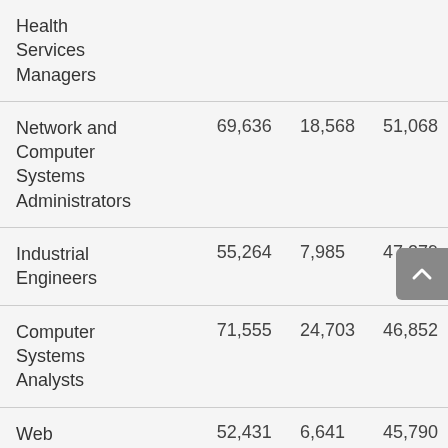| Health Services Managers |  |  |  |
| Network and Computer Systems Administrators | 69,636 | 18,568 | 51,068 |
| Industrial Engineers | 55,264 | 7,985 | 47,279 |
| Computer Systems Analysts | 71,555 | 24,703 | 46,852 |
| Web Developers | 52,431 | 6,641 | 45,790 |